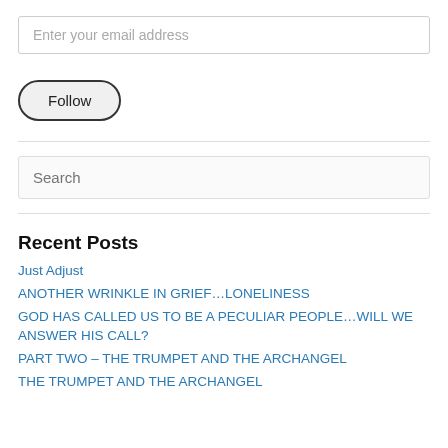Enter your email address
Follow
Search
Recent Posts
Just Adjust
ANOTHER WRINKLE IN GRIEF…LONELINESS
GOD HAS CALLED US TO BE A PECULIAR PEOPLE…WILL WE ANSWER HIS CALL?
PART TWO – THE TRUMPET AND THE ARCHANGEL
THE TRUMPET AND THE ARCHANGEL